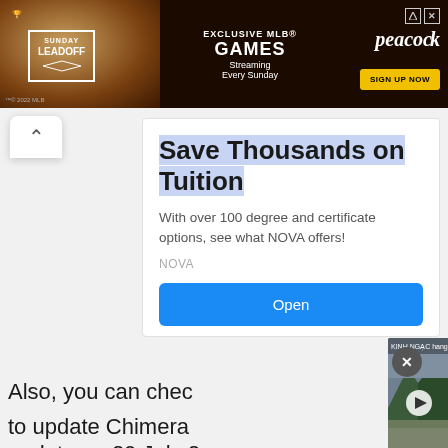[Figure (screenshot): MLB Peacock ad banner — EXCLUSIVE MLB GAMES Streaming Every Sunday, SIGN UP NOW button, Sunday Leadoff branding]
Save Thousands on Tuition
With over 100 degree and certificate options, see what NOVA offers!
NOVA
Open
Also, you can chec to update Chimera update on 29 July 2